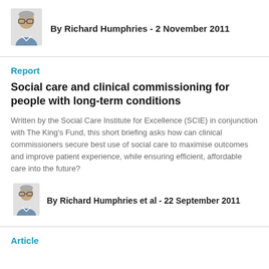By Richard Humphries - 2 November 2011
Report
Social care and clinical commissioning for people with long-term conditions
Written by the Social Care Institute for Excellence (SCIE) in conjunction with The King's Fund, this short briefing asks how can clinical commissioners secure best use of social care to maximise outcomes and improve patient experience, while ensuring efficient, affordable care into the future?
By Richard Humphries et al - 22 September 2011
Article